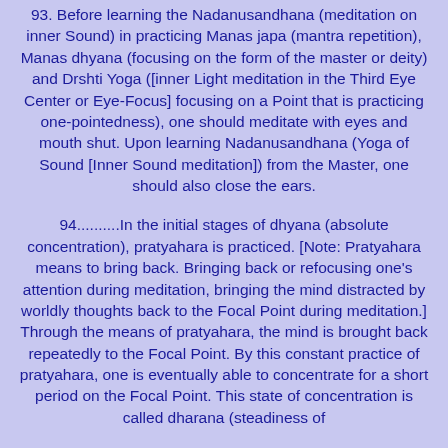93. Before learning the Nadanusandhana (meditation on inner Sound) in practicing Manas japa (mantra repetition), Manas dhyana (focusing on the form of the master or deity) and Drshti Yoga ([inner Light meditation in the Third Eye Center or Eye-Focus] focusing on a Point that is practicing one-pointedness), one should meditate with eyes and mouth shut. Upon learning Nadanusandhana (Yoga of Sound [Inner Sound meditation]) from the Master, one should also close the ears.
94..........In the initial stages of dhyana (absolute concentration), pratyahara is practiced. [Note: Pratyahara means to bring back. Bringing back or refocusing one's attention during meditation, bringing the mind distracted by worldly thoughts back to the Focal Point during meditation.] Through the means of pratyahara, the mind is brought back repeatedly to the Focal Point. By this constant practice of pratyahara, one is eventually able to concentrate for a short period on the Focal Point. This state of concentration is called dharana (steadiness of